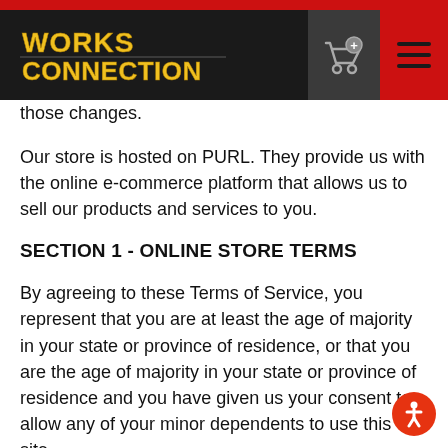Works Connection — navigation header with logo, cart, and menu
those changes.
Our store is hosted on PURL. They provide us with the online e-commerce platform that allows us to sell our products and services to you.
SECTION 1 - ONLINE STORE TERMS
By agreeing to these Terms of Service, you represent that you are at least the age of majority in your state or province of residence, or that you are the age of majority in your state or province of residence and you have given us your consent to allow any of your minor dependents to use this site.
You may not use our products for any illegal or unauthorized purpose nor may you, in the use of the Service, violate any laws in your jurisdiction (including but not limited to copyright laws).